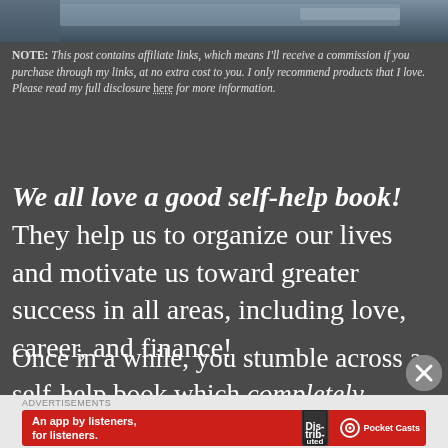[Figure (photo): Blurred image at the top of the page showing books or papers in a dark bluish-gray tone]
NOTE: This post contains affiliate links, which means I'll receive a commission if you purchase through my links, at no extra cost to you. I only recommend products that I love. Please read my full disclosure here for more information.
We all love a good self-help book! They help us to organize our lives and motivate us toward greater success in all areas, including love, career, and finance!
Once in a while, you stumble across a self-help book which completely changes your world view and impacts your life in ways you could not have imagined.
[Figure (screenshot): Advertisement banner for Pocket Casts app on a red background with text 'An app by listeners, for listeners.' and Pocket Casts logo]